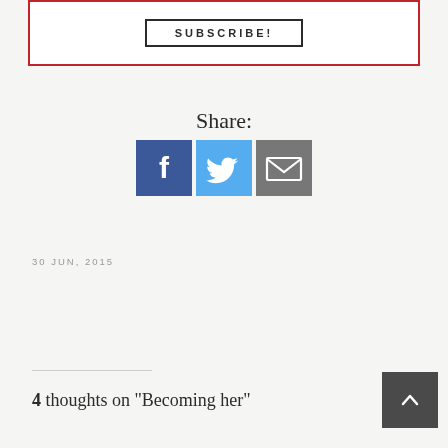SUBSCRIBE!
Share:
[Figure (infographic): Three social share icons: Facebook (blue), Twitter (light blue), Email (gray)]
30 JUN, 2015
4 thoughts on "Becoming her"